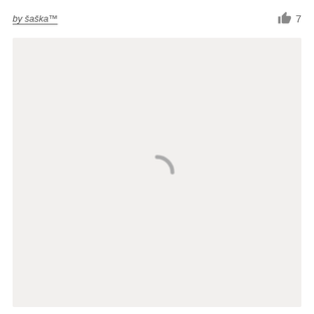by šaška™  👍 7
[Figure (other): Large light gray content area with a gray loading spinner icon centered in it]